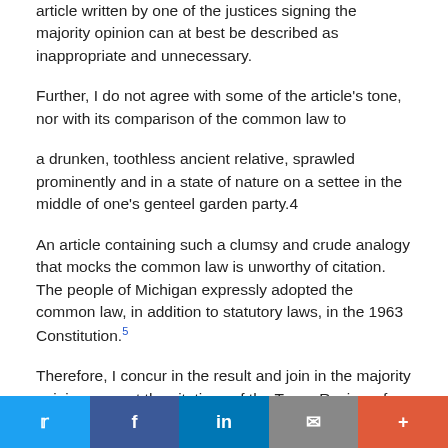article written by one of the justices signing the majority opinion can at best be described as inappropriate and unnecessary.
Further, I do not agree with some of the article's tone, nor with its comparison of the common law to
a drunken, toothless ancient relative, sprawled prominently and in a state of nature on a settee in the middle of one's genteel garden party.4
An article containing such a clumsy and crude analogy that mocks the common law is unworthy of citation.    The people of Michigan expressly adopted the common law, in addition to statutory laws, in the 1963 Constitution.⁵
Therefore, I concur in the result and join in the majority opinion, except the citations of the Texas Review of Law &
Twitter Facebook in Email +